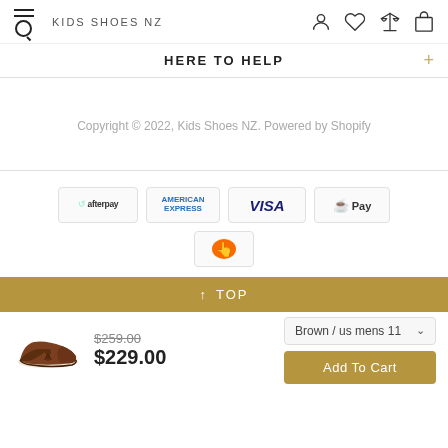KIDS SHOES NZ
HERE TO HELP
Copyright © 2022, Kids Shoes NZ. Powered by Shopify
[Figure (other): Payment method logos: Afterpay, American Express, Visa, Shop Pay, orange hand payment icon]
↑ TOP
[Figure (photo): Brown leather loafer/moccasin shoe]
$259.00 $229.00
Brown / us mens 11
Add To Cart